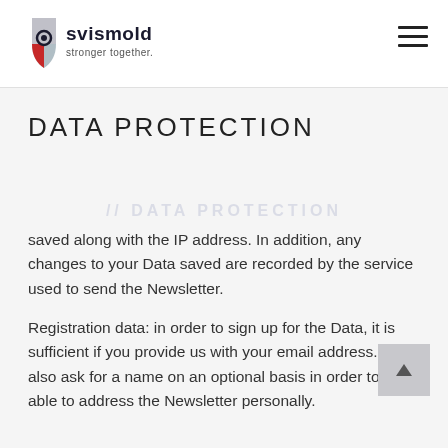[Figure (logo): Svismold logo with shield icon and text 'svismold stronger together.']
DATA PROTECTION
saved along with the IP address. In addition, any changes to your Data saved are recorded by the service used to send the Newsletter.
Registration data: in order to sign up for the Data, it is sufficient if you provide us with your email address. We also ask for a name on an optional basis in order to be able to address the Newsletter personally.